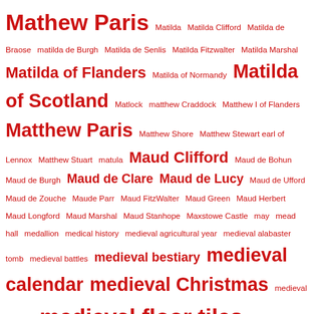Mathew Paris Matilda Matilda Clifford Matilda de Braose matilda de Burgh Matilda de Senlis Matilda Fitzwalter Matilda Marshal Matilda of Flanders Matilda of Normandy Matilda of Scotland Matlock matthew Craddock Matthew I of Flanders Matthew Paris Matthew Shore Matthew Stewart earl of Lennox Matthew Stuart matula Maud Clifford Maud de Bohun Maud de Burgh Maud de Clare Maud de Lucy Maud de Ufford Maud de Zouche Maude Parr Maud FitzWalter Maud Green Maud Herbert Maud Longford Maud Marshal Maud Stanhope Maxstowe Castle may mead hall medallion medical history medieval agricultural year medieval alabaster tomb medieval battles medieval bestiary medieval calendar medieval Christmas medieval cosmos medieval floor tiles Medieval Friars medieval garden medieval gardening medieval law medieval marriage medieval medicine medieval mermaid medieval metals medieval numerology medieval planets medieval story of the tiger medieval will medieval year melancholy Melbourne Castle Melford Hall Melusine menagerie Mendoza